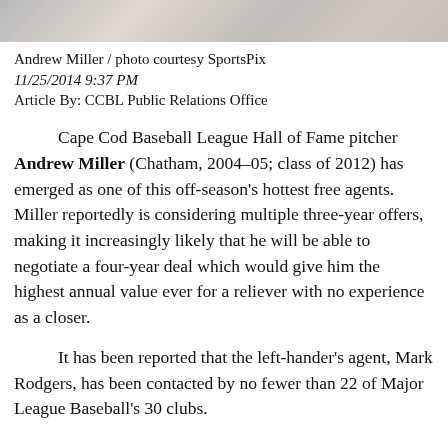[Figure (photo): Partial photo of Andrew Miller, top portion of image showing jersey and partial face/background]
Andrew Miller / photo courtesy SportsPix
11/25/2014 9:37 PM
Article By: CCBL Public Relations Office
Cape Cod Baseball League Hall of Fame pitcher Andrew Miller (Chatham, 2004-05; class of 2012) has emerged as one of this off-season's hottest free agents. Miller reportedly is considering multiple three-year offers, making it increasingly likely that he will be able to negotiate a four-year deal which would give him the highest annual value ever for a reliever with no experience as a closer.
It has been reported that the left-hander's agent, Mark Rodgers, has been contacted by no fewer than 22 of Major League Baseball's 30 clubs.